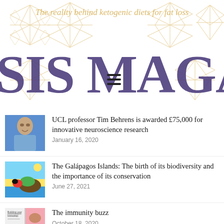The reality behind ketogenic diets for fat loss
SIS MAGA
UCL professor Tim Behrens is awarded £75,000 for innovative neuroscience research
January 16, 2020
The Galápagos Islands: The birth of its biodiversity and the importance of its conservation
June 27, 2021
The immunity buzz
October 18, 2020
The ideological battle for polio eradication in